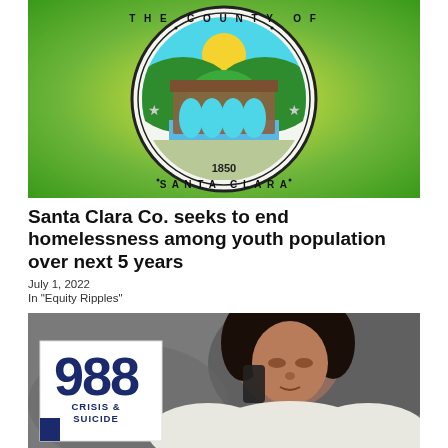[Figure (logo): The County of Santa Clara official seal, 1850, on a green and yellow gradient background. Circular seal with bridge, river, mountains, and sun.]
Santa Clara Co. seeks to end homelessness among youth population over next 5 years
July 1, 2022
In "Equity Ripples"
[Figure (photo): A young woman with curly hair talking on a phone, looking down. In the lower left corner is a white box with '988 CRISIS &' text in dark navy blue.]